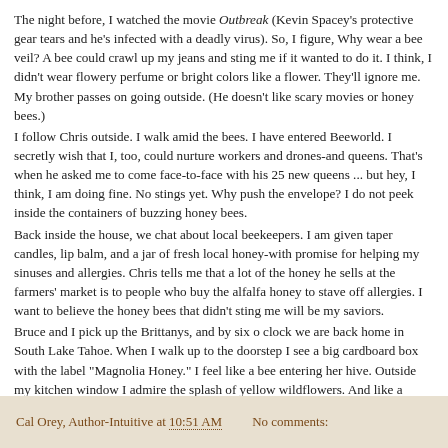The night before, I watched the movie Outbreak (Kevin Spacey's protective gear tears and he's infected with a deadly virus). So, I figure, Why wear a bee veil? A bee could crawl up my jeans and sting me if it wanted to do it. I think, I didn't wear flowery perfume or bright colors like a flower. They'll ignore me. My brother passes on going outside. (He doesn't like scary movies or honey bees.) I follow Chris outside. I walk amid the bees. I have entered Beeworld. I secretly wish that I, too, could nurture workers and drones-and queens. That's when he asked me to come face-to-face with his 25 new queens ... but hey, I think, I am doing fine. No stings yet. Why push the envelope? I do not peek inside the containers of buzzing honey bees. Back inside the house, we chat about local beekeepers. I am given taper candles, lip balm, and a jar of fresh local honey-with promise for helping my sinuses and allergies. Chris tells me that a lot of the honey he sells at the farmers' market is to people who buy the alfalfa honey to stave off allergies. I want to believe the honey bees that didn't sting me will be my saviors. Bruce and I pick up the Brittanys, and by six o clock we are back home in South Lake Tahoe. When I walk up to the doorstep I see a big cardboard box with the label "Magnolia Honey." I feel like a bee entering her hive. Outside my kitchen window I admire the splash of yellow wildflowers. And like a preserving worker bee I find the perfect wildflower honey recipe to take me abroad.
Cal Orey, Author-Intuitive at 10:51 AM    No comments: